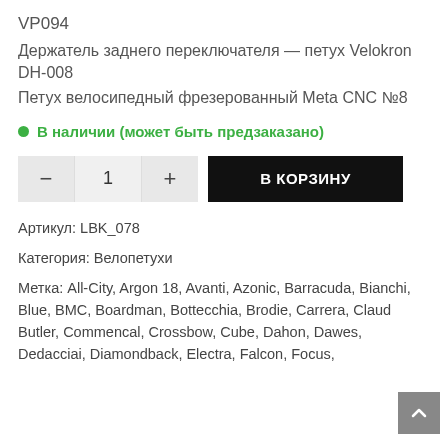VP094
Держатель заднего переключателя — петух Velokron DH-008
Петух велосипедный фрезерованный Meta CNC №8
● В наличии (может быть предзаказано)
− 1 + В КОРЗИНУ
Артикул: LBK_078
Категория: Велопетухи
Метка: All-City, Argon 18, Avanti, Azonic, Barracuda, Bianchi, Blue, BMC, Boardman, Bottecchia, Brodie, Carrera, Claud Butler, Commencal, Crossbow, Cube, Dahon, Dawes, Dedacciai, Diamondback, Electra, Falcon, Focus,